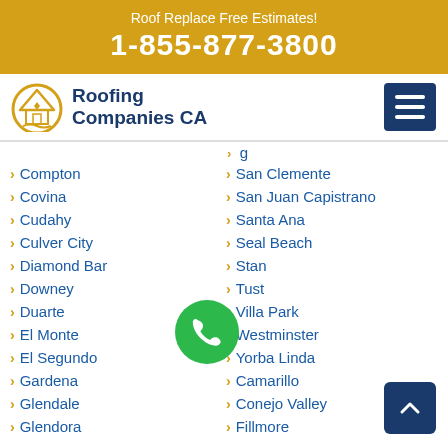Roof Replace Free Estimates! 1-855-877-3800
[Figure (logo): Roofing Companies CA logo with house/roof icon]
Compton
Covina
Cudahy
Culver City
Diamond Bar
Downey
Duarte
El Monte
El Segundo
Gardena
Glendale
Glendora
San Clemente
San Juan Capistrano
Santa Ana
Seal Beach
Stanton
Tustin
Villa Park
Westminster
Yorba Linda
Camarillo
Conejo Valley
Fillmore